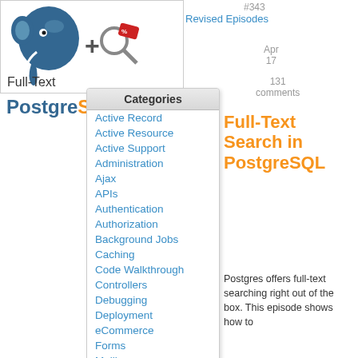[Figure (screenshot): Screenshot of a website showing a PostgreSQL logo, a plus sign with a magnifying glass/search icon, and a 'Revised Episodes' link. Below is a 'Categories' dropdown menu listing: Active Record, Active Resource, Active Support, Administration, Ajax, APIs, Authentication, Authorization, Background Jobs, Caching, Code Walkthrough, Controllers, Debugging, Deployment, eCommerce, Forms, Mailing, Models. On the right side: episode #343, Apr 17, 131 comments, title 'Full-Text Search in PostgreSQL' in orange, and description 'Postgres offers full-text searching right out of the box. This episode shows how to...']
Full-Text Search in PostgreSQL
Postgres offers full-text searching right out of the box. This episode shows how to